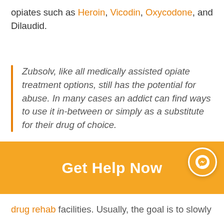opiates such as Heroin, Vicodin, Oxycodone, and Dilaudid.
Zubsolv, like all medically assisted opiate treatment options, still has the potential for abuse. In many cases an addict can find ways to use it in-between or simply as a substitute for their drug of choice.
Drugs like Zubsolv and Suboxone can work in a controlled clinical or medical environment. It can just as equally help under the very close
Get Help Now
drug rehab facilities. Usually, the goal is to slowly